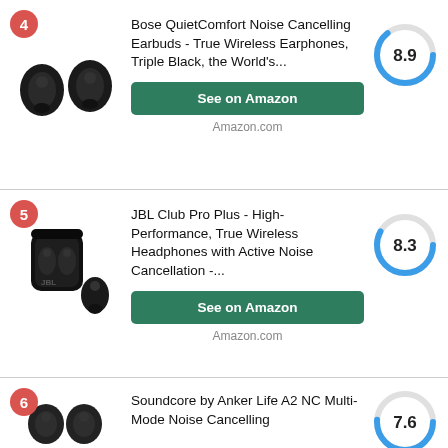4 - Bose QuietComfort Noise Cancelling Earbuds - True Wireless Earphones, Triple Black, the World's... - Score: 8.9 - See on Amazon - Amazon.com
5 - JBL Club Pro Plus - High-Performance, True Wireless Headphones with Active Noise Cancellation -... - Score: 8.3 - See on Amazon - Amazon.com
6 - Soundcore by Anker Life A2 NC Multi-Mode Noise Cancelling - Score: 7.6